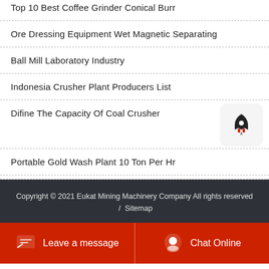Top 10 Best Coffee Grinder Conical Burr
Ore Dressing Equipment Wet Magnetic Separating
Ball Mill Laboratory Industry
Indonesia Crusher Plant Producers List
Difine The Capacity Of Coal Crusher
Portable Gold Wash Plant 10 Ton Per Hr
Copyright © 2021 Eukat Mining Machinery Company All rights reserved / Sitemap
Leave a message  /  Chat Online